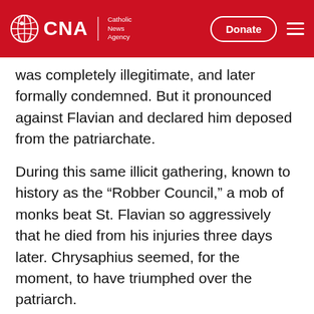CNA | Catholic News Agency — Donate
was completely illegitimate, and later formally condemned. But it pronounced against Flavian and declared him deposed from the patriarchate.
During this same illicit gathering, known to history as the “Robber Council,” a mob of monks beat St. Flavian so aggressively that he died from his injuries three days later. Chrysaphius seemed, for the moment, to have triumphed over the patriarch.
But the state official’s ambitions soon collapsed. Chrysaphius fell out of favor with Theodosius II shortly before the emperor’s death in July 450,